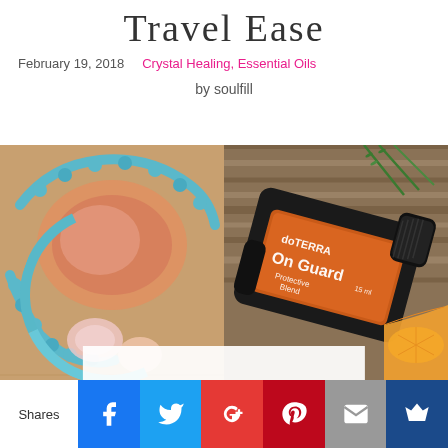Travel Ease
February 19, 2018   Crystal Healing, Essential Oils
by soulfill
[Figure (photo): Left side: turquoise crystal/stone bead necklace with rose quartz and shells on a woven mat. Right side: doTERRA On Guard Protective Blend 15ml essential oil bottle lying on its side on a wooden surface with orange slices and rosemary sprigs.]
Shares | Facebook | Twitter | Google+ | Pinterest | Email | Crown